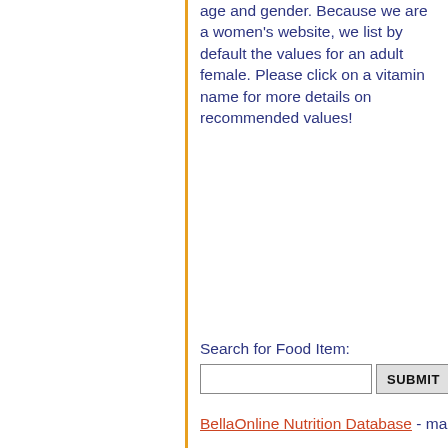age and gender. Because we are a women's website, we list by default the values for an adult female. Please click on a vitamin name for more details on recommended values!
Search for Food Item:
BellaOnline Nutrition Database - mai